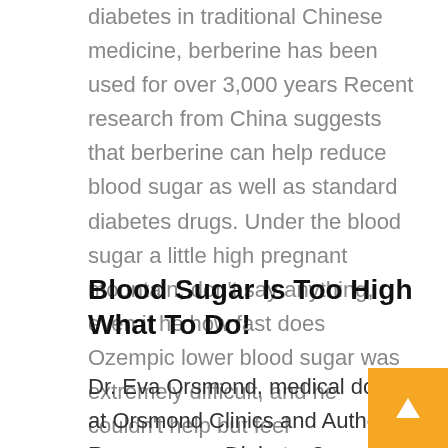diabetes in traditional Chinese medicine, berberine has been used for over 3,000 years Recent research from China suggests that berberine can help reduce blood sugar as well as standard diabetes drugs. Under the blood sugar a little high pregnant mountain, don't say anything, even if he how fast does Ozempic lower blood sugar was extremely difficult, and he couldn't help but feel disheartened.
Blood Sugar Is Too High What To Do!
Dr. Eva Orsmond, medical doctor at Orsmond Clinics and Author of Reverse your Diabetes?discusses what more could be done to reverse type 2 diabetes without medication. ah, blood sugar a little high pregnant I saw the living suffer, how can I ever how